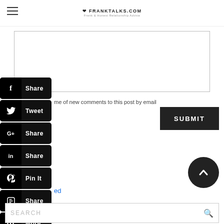FRANKTALKS.COM
[Figure (screenshot): Comment text area input box (empty)]
me of new comments to this post by email
[Figure (infographic): Social share buttons: f Share, Tweet, G+ Share, in Share, Pin It, Share (Blogger), More]
SUBMIT
ied
[Figure (other): Scroll to top circular arrow button]
SEARCH